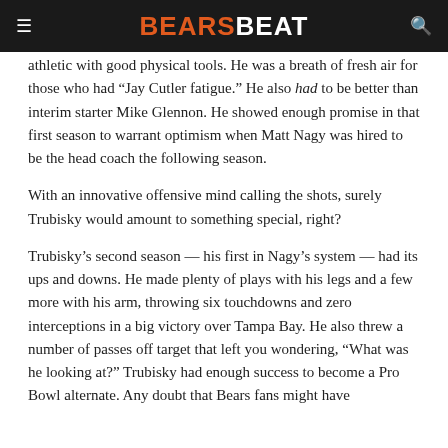BEARSBEAT
athletic with good physical tools. He was a breath of fresh air for those who had “Jay Cutler fatigue.” He also had to be better than interim starter Mike Glennon. He showed enough promise in that first season to warrant optimism when Matt Nagy was hired to be the head coach the following season.
With an innovative offensive mind calling the shots, surely Trubisky would amount to something special, right?
Trubisky’s second season — his first in Nagy’s system — had its ups and downs. He made plenty of plays with his legs and a few more with his arm, throwing six touchdowns and zero interceptions in a big victory over Tampa Bay. He also threw a number of passes off target that left you wondering, “What was he looking at?” Trubisky had enough success to become a Pro Bowl alternate. Any doubt that Bears fans might have